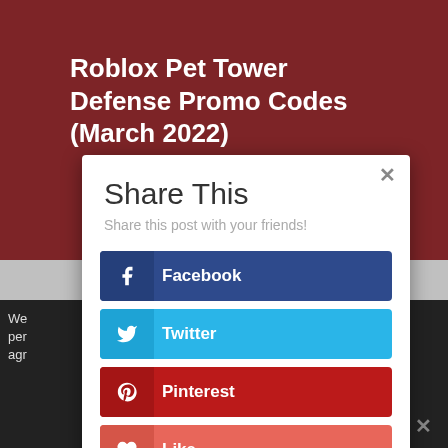Roblox Pet Tower Defense Promo Codes (March 2022)
Share This
Share this post with your friends!
Facebook
Twitter
Pinterest
Like